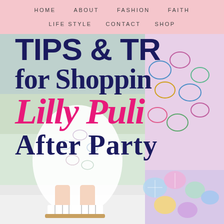HOME   ABOUT   FASHION   FAITH   LIFESTYLE   CONTACT   SHOP
[Figure (photo): Background photo of a child wearing a Lilly Pulitzer white shell-print dress and white gladiator sandals standing on a white surface, with a colorful pink/blue/purple Lilly Pulitzer shell-pattern fabric on the right side.]
TIPS & TRICKS for Shopping Lilly Pulitzer After Party